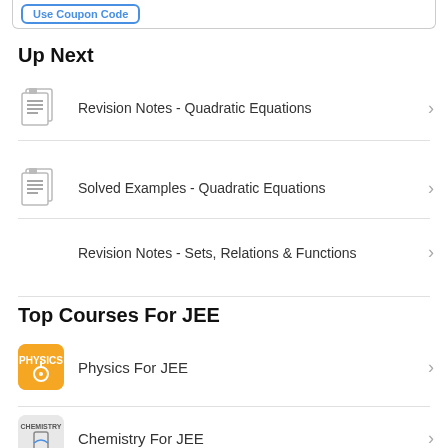Revision Notes - Quadratic Equations
Solved Examples - Quadratic Equations
Revision Notes - Sets, Relations & Functions
Up Next
Top Courses For JEE
Physics For JEE
Chemistry For JEE